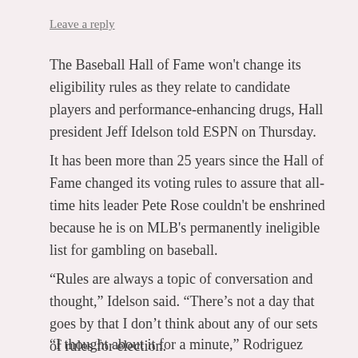Leave a reply
The Baseball Hall of Fame won't change its eligibility rules as they relate to candidate players and performance-enhancing drugs, Hall president Jeff Idelson told ESPN on Thursday.
It has been more than 25 years since the Hall of Fame changed its voting rules to assure that all-time hits leader Pete Rose couldn't be enshrined because he is on MLB's permanently ineligible list for gambling on baseball.
“Rules are always a topic of conversation and thought,” Idelson said. “There’s not a day that goes by that I don’t think about any of our sets of rules for election.
“I thought about it for a minute,” Rodriguez said, via